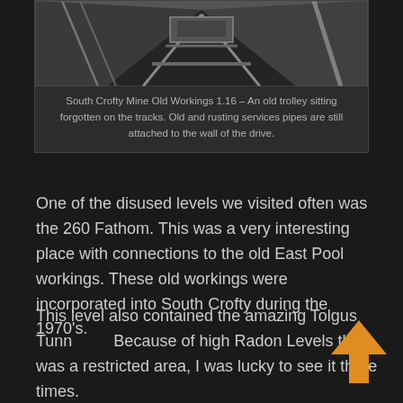[Figure (photo): Black and white photograph of an old mine trolley sitting on tracks inside a mine drive, with rusting services pipes attached to the wall.]
South Crofty Mine Old Workings 1.16 – An old trolley sitting forgotten on the tracks. Old and rusting services pipes are still attached to the wall of the drive.
One of the disused levels we visited often was the 260 Fathom. This was a very interesting place with connections to the old East Pool workings. These old workings were incorporated into South Crofty during the 1970's.
This level also contained the amazing Tolgus Tunnel. Because of high Radon Levels this was a restricted area, I was lucky to see it three times.